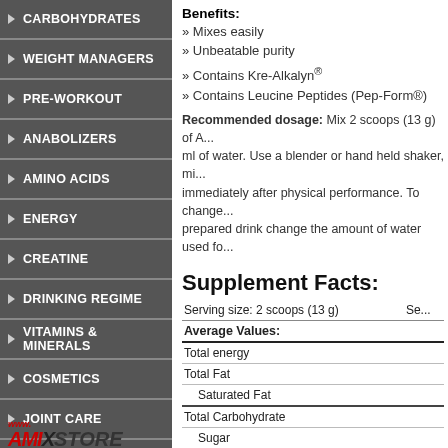CARBOHYDRATES
WEIGHT MANAGERS
PRE-WORKOUT
ANABOLIZERS
AMINO ACIDS
ENERGY
CREATINE
DRINKING REGIME
VITAMINS & MINERALS
COSMETICS
JOINT CARE
BARS
OTHERS
[Figure (logo): AmixStore logo with red text]
Benefits:
» Mixes easily
» Unbeatable purity
» Contains Kre-Alkalyn®
» Contains Leucine Peptides (Pep-Form®)
Recommended dosage: Mix 2 scoops (13 g) of A... ml of water. Use a blender or hand held shaker, mi... immediately after physical performance. To change... prepared drink change the amount of water used fo...
Supplement Facts:
|  | Se... |
| --- | --- |
| Average Values: |  |
| Total energy |  |
| Total Fat |  |
| Saturated Fat |  |
| Total Carbohydrate |  |
| Sugar |  |
| Protein |  |
| Salt |  |